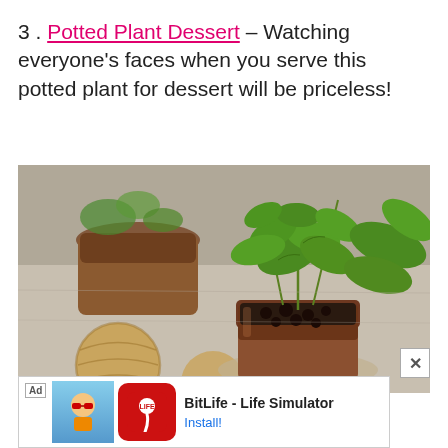3 . Potted Plant Dessert – Watching everyone's faces when you serve this potted plant for dessert will be priceless!
[Figure (photo): Photo of chocolate desserts served in glass pots with fresh green mint leaves and berries on top, arranged on a wooden table with woven decorative balls]
[Figure (screenshot): Advertisement banner for BitLife - Life Simulator app with Install button, Ad label, and app icon showing a sperm on red background]